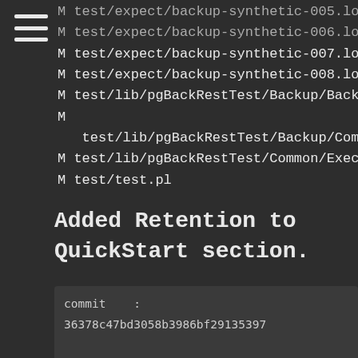M test/expect/backup-synthetic-005.log
M test/expect/backup-synthetic-006.log
M test/expect/backup-synthetic-007.log
M test/expect/backup-synthetic-008.log
M test/lib/pgBackRestTest/Backup/BackupTest.pm
M test/lib/pgBackRestTest/Backup/Common/ExpireCommonT
M test/lib/pgBackRestTest/Common/ExecuteTest.pm
M test/test.pl
Added Retention to QuickStart section.
commit    : 36378c47bd3058b3986bf29135397

author    : David Steele <david@pgmasters
date      : Sun, 4 Dec 2016 18:11:23 -050